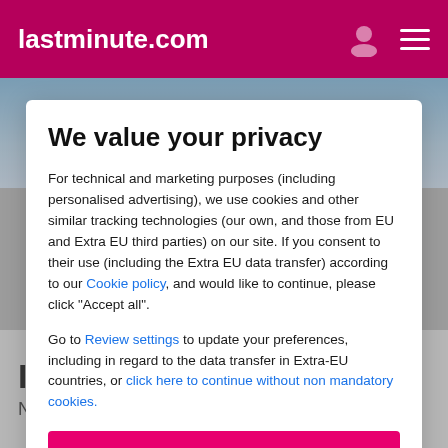lastminute.com
[Figure (screenshot): Sky background image strip behind modal]
We value your privacy
For technical and marketing purposes (including personalised advertising), we use cookies and other similar tracking technologies (our own, and those from EU and Extra EU third parties) on our site. If you consent to their use (including the Extra EU data transfer) according to our Cookie policy, and would like to continue, please click "Accept all".
Go to Review settings to update your preferences, including in regard to the data transfer in Extra-EU countries, or click here to continue without non mandatory cookies.
ACCEPT ALL
Inn Hotel
Near Sharlot Hall Museum